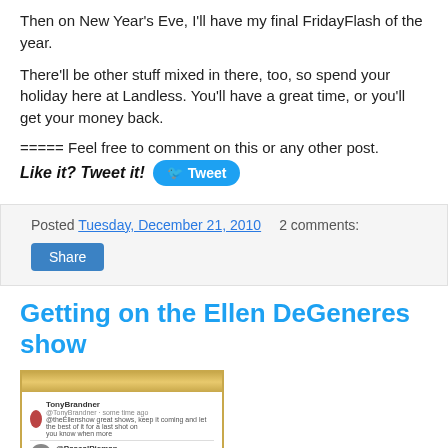Then on New Year's Eve, I'll have my final FridayFlash of the year.
There'll be other stuff mixed in there, too, so spend your holiday here at Landless. You'll have a great time, or you'll get your money back.
===== Feel free to comment on this or any other post.
Like it? Tweet it! [Tweet button]
Posted Tuesday, December 21, 2010   2 comments:
Share
Getting on the Ellen DeGeneres show
[Figure (screenshot): Screenshot of a Twitter conversation showing a tweet directed at @theEllenshow saying 'I adore you already, but']